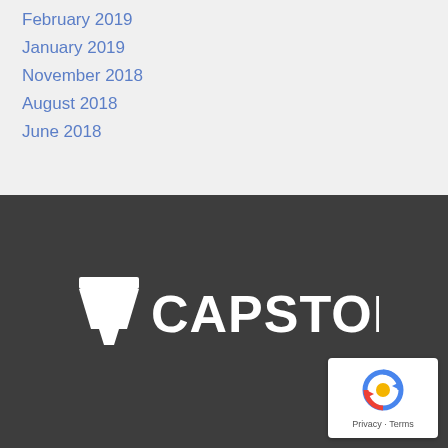February 2019
January 2019
November 2018
August 2018
June 2018
[Figure (logo): Capstone IT logo — white text with capstone/funnel icon on dark grey background]
[Figure (other): reCAPTCHA badge with Privacy and Terms links]